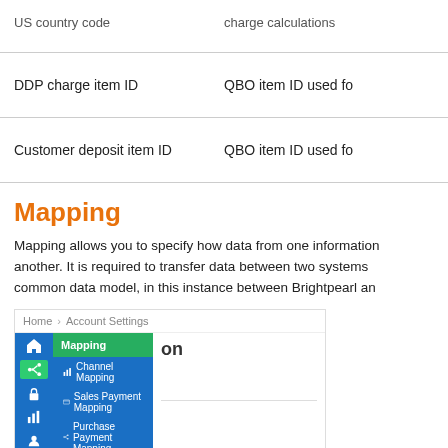| Field | Description |
| --- | --- |
| DDP charge item ID | QBO item ID used fo... |
| Customer deposit item ID | QBO item ID used fo... |
Mapping
Mapping allows you to specify how data from one information system maps to another. It is required to transfer data between two systems that do not share a common data model, in this instance between Brightpearl an...
[Figure (screenshot): Screenshot of a web application showing a navigation sidebar with Mapping menu expanded, including Home > Account Settings breadcrumb. Sidebar shows icons for home, share, lock, chart, person, cart, lock icons in blue. Menu items: Mapping (green header), Channel Mapping, Sales Payment Mapping, Purchase Payment Mapping, Tax Mapping.]